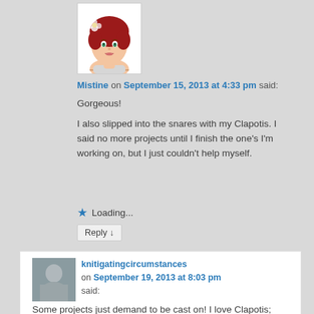[Figure (illustration): Cartoon avatar of a woman with red hair and a flower accessory]
Mistine on September 15, 2013 at 4:33 pm said:
Gorgeous!

I also slipped into the snares with my Clapotis. I said no more projects until I finish the one's I'm working on, but I just couldn't help myself.
Loading...
Reply ↓
[Figure (photo): Photo of a person, reply avatar for knitigatingcircumstances]
knitigatingcircumstances on September 19, 2013 at 8:03 pm said:
Some projects just demand to be cast on! I love Clapotis; good luck with yours.